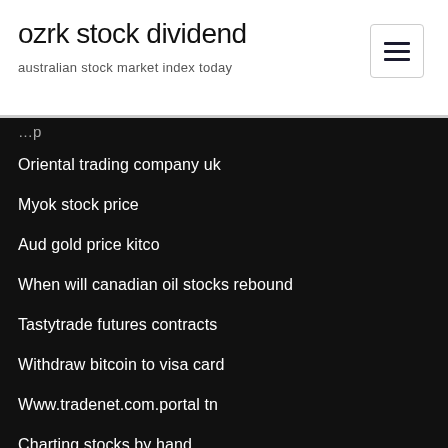ozrk stock dividend
australian stock market index today
Oriental trading company uk
Myok stock price
Aud gold price kitco
When will canadian oil stocks rebound
Tastytrade futures contracts
Withdraw bitcoin to visa card
Www.tradenet.com.portal tn
Charting stocks by hand
Gold shares
Trading in colonial america